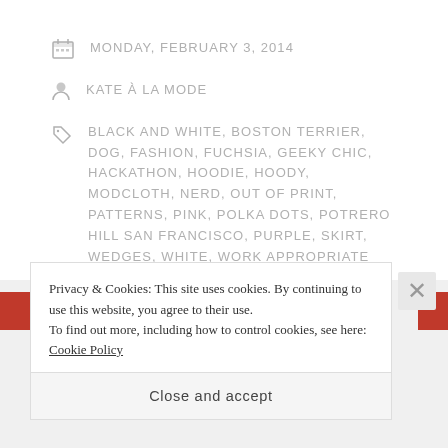MONDAY, FEBRUARY 3, 2014
KATE À LA MODE
BLACK AND WHITE, BOSTON TERRIER, DOG, FASHION, FUCHSIA, GEEKY CHIC, HACKATHON, HOODIE, HOODY, MODCLOTH, NERD, OUT OF PRINT, PATTERNS, PINK, POLKA DOTS, POTRERO HILL SAN FRANCISCO, PURPLE, SKIRT, WEDGES, WHITE, WORK APPROPRIATE
LEAVE A COMMENT
Privacy & Cookies: This site uses cookies. By continuing to use this website, you agree to their use.
To find out more, including how to control cookies, see here: Cookie Policy
Close and accept